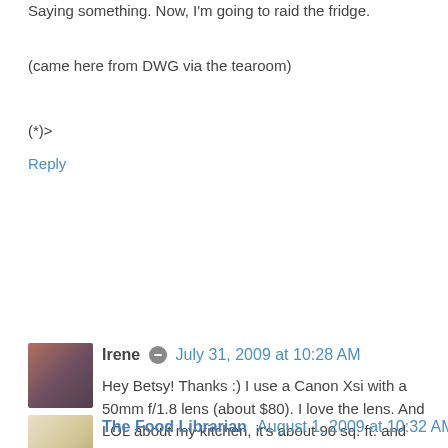Saying something. Now, I'm going to raid the fridge.
(came here from DWG via the tearoom)
(*)>
Reply
Irene  July 31, 2009 at 10:28 AM
Hey Betsy! Thanks :) I use a Canon Xsi with a 50mm f/1.8 lens (about $80). I love the lens. And LOL about my kitchen, it's about 90 sq. ft. and hardly fits me.

I was trying to post a response in the tearoom, but it's not letting me somehow. I'm finishing up another story on AHA and will get back to SoH soon. Glad people still remember it!
Reply
The Food Librarian  August 1, 2009 at 10:32 AM